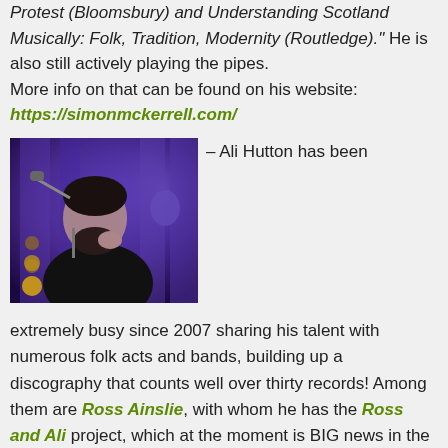Protest (Bloomsbury) and Understanding Scotland Musically: Folk, Tradition, Modernity (Routledge)." He is also still actively playing the pipes.
More info on that can be found on his website:
https://simonmckerrell.com/
[Figure (photo): A bearded man in dark clothing performing on stage with a microphone, lit by purple/blue stage lighting with gold lights visible in the background.]
– Ali Hutton has been
extremely busy since 2007 sharing his talent with numerous folk acts and bands, building up a discography that counts well over thirty records! Among them are Ross Ainslie, with whom he has the Ross and Ali project, which at the moment is BIG news in the UK and the band Old blind